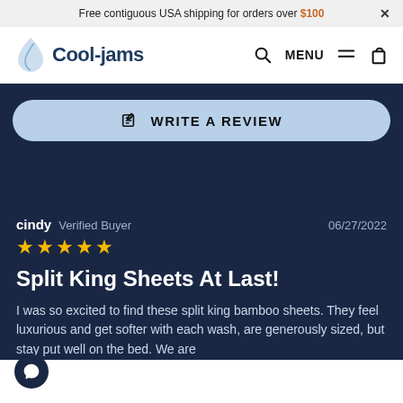Free contiguous USA shipping for orders over $100 ×
[Figure (logo): Cool-jams logo with droplet/flame icon and nav icons (search, menu, cart)]
✎  WRITE A REVIEW
cindy  Verified Buyer  06/27/2022
★★★★★
Split King Sheets At Last!
I was so excited to find these split king bamboo sheets. They feel luxurious and get softer with each wash, are generously sized, but stay put well on the bed. We are